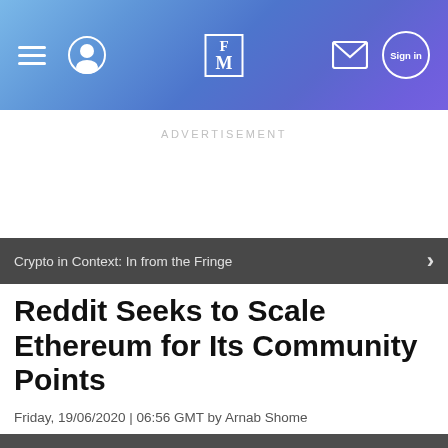FM — Finance Magnates header navigation
ADVERTISEMENT
Crypto in Context: In from the Fringe
Reddit Seeks to Scale Ethereum for Its Community Points
Friday, 19/06/2020 | 06:56 GMT by Arnab Shome
The company has already launched the Community Points for two subreddits.